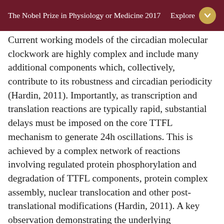The Nobel Prize in Physiology or Medicine 2017  Explore
Current working models of the circadian molecular clockwork are highly complex and include many additional components which, collectively, contribute to its robustness and circadian periodicity (Hardin, 2011). Importantly, as transcription and translation reactions are typically rapid, substantial delays must be imposed on the core TTFL mechanism to generate 24h oscillations. This is achieved by a complex network of reactions involving regulated protein phosphorylation and degradation of TTFL components, protein complex assembly, nuclear translocation and other post-translational modifications (Hardin, 2011). A key observation demonstrating the underlying mechanism for such a delay came from the discovery by Young of the doubletime gene, encoding a kinase DOUBLETIME (DBT) that